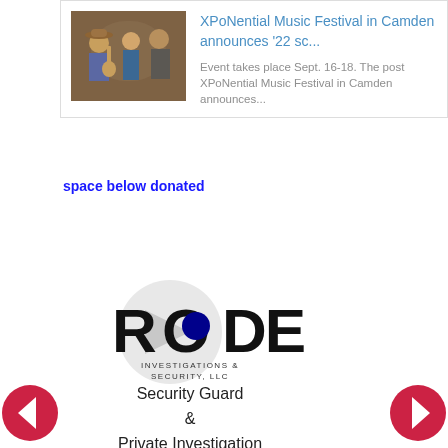[Figure (screenshot): News article card with thumbnail image of musicians and text about XPoNential Music Festival]
space below donated
[Figure (logo): RODE Investigations & Security, LLC logo with circular design and blue dot in O]
Security Guard
&
Private Investigation Services
- Emergency  Security Services